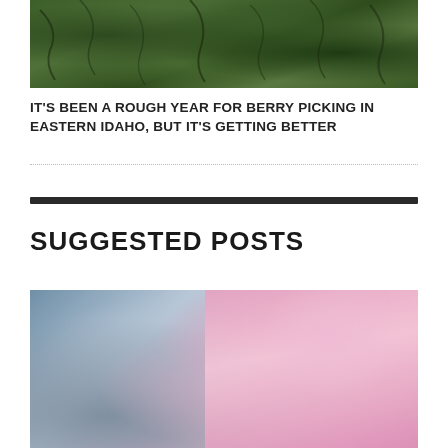[Figure (photo): Photo of dense green foliage and trees with branches, taken outdoors]
IT'S BEEN A ROUGH YEAR FOR BERRY PICKING IN EASTERN IDAHO, BUT IT'S GETTING BETTER
SUGGESTED POSTS
[Figure (photo): Photo of a person in a pink top, blurred background, suggested post thumbnail]